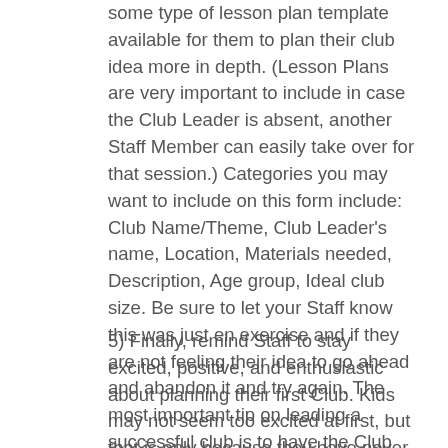some type of lesson plan template available for them to plan their club idea more in depth. (Lesson Plans are very important to include in case the Club Leader is absent, another Staff Member can easily take over for that session.) Categories you may want to include on this form include: Club Name/Theme, Club Leader's name, Location, Materials needed, Description, Age group, Ideal club size. Be sure to let your Staff know this was just en exercise and if they are not feeling their idea to go ahead and abandon it and try again. The most important tip on leading a successful club is to have the Club Leader be passionate about their club theme and the idea of sharing it with the children.
5) Finally, remind Staff to stay excited, positive, and enthusiastic about planning their first Club. Kids may not seem too excited at first, but that is only because they have never experienced After School Clubs before. After a short time, Staff, Parents & Children will come to see Clubs as a successful and fulfilling element to